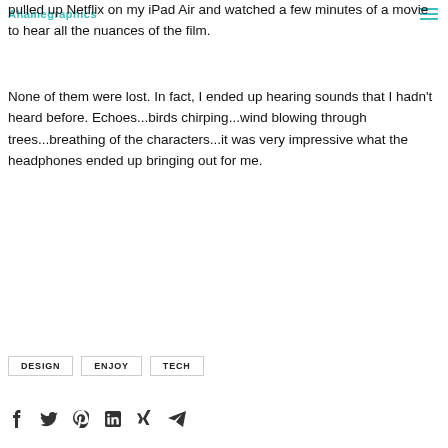Ahamegraphics  ☰
pulled up Netflix on my iPad Air and watched a few minutes of a movie to hear all the nuances of the film.
None of them were lost. In fact, I ended up hearing sounds that I hadn't heard before. Echoes...birds chirping...wind blowing through trees...breathing of the characters...it was very impressive what the headphones ended up bringing out for me.
DESIGN
ENJOY
TECH